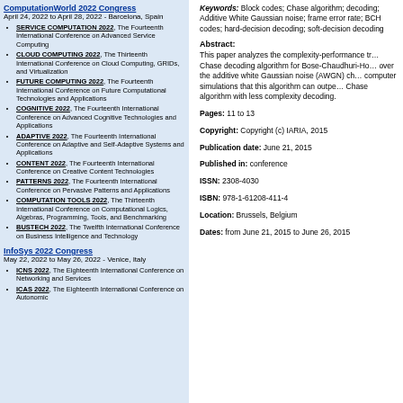ComputationWorld 2022 Congress
April 24, 2022 to April 28, 2022 - Barcelona, Spain
SERVICE COMPUTATION 2022, The Fourteenth International Conference on Advanced Service Computing
CLOUD COMPUTING 2022, The Thirteenth International Conference on Cloud Computing, GRIDs, and Virtualization
FUTURE COMPUTING 2022, The Fourteenth International Conference on Future Computational Technologies and Applications
COGNITIVE 2022, The Fourteenth International Conference on Advanced Cognitive Technologies and Applications
ADAPTIVE 2022, The Fourteenth International Conference on Adaptive and Self-Adaptive Systems and Applications
CONTENT 2022, The Fourteenth International Conference on Creative Content Technologies
PATTERNS 2022, The Fourteenth International Conference on Pervasive Patterns and Applications
COMPUTATION TOOLS 2022, The Thirteenth International Conference on Computational Logics, Algebras, Programming, Tools, and Benchmarking
BUSTECH 2022, The Twelfth International Conference on Business Intelligence and Technology
InfoSys 2022 Congress
May 22, 2022 to May 26, 2022 - Venice, Italy
ICNS 2022, The Eighteenth International Conference on Networking and Services
ICAS 2022, The Eighteenth International Conference on Autonomic
Keywords: Block codes; Chase algorithm; decoding; Additive White Gaussian noise; frame error rate; BCH codes; hard-decision decoding; soft-decision decoding
Abstract:
This paper analyzes the complexity-performance tradeoff of the Chase decoding algorithm for Bose-Chaudhuri-Hocquenghem over the additive white Gaussian noise (AWGN) channel using computer simulations that this algorithm can outperform the Chase algorithm with less complexity decoding.
Pages: 11 to 13
Copyright: Copyright (c) IARIA, 2015
Publication date: June 21, 2015
Published in: conference
ISSN: 2308-4030
ISBN: 978-1-61208-411-4
Location: Brussels, Belgium
Dates: from June 21, 2015 to June 26, 2015